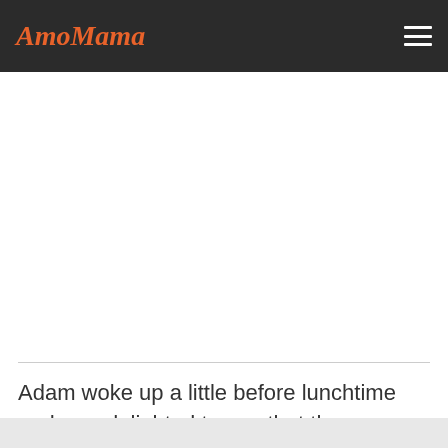AmoMama
Adam woke up a little before lunchtime and was delighted to see that there was food on the table.